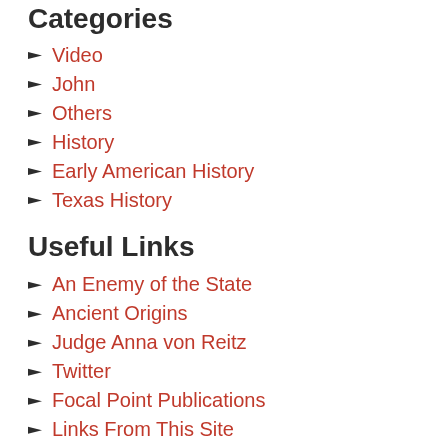Categories
Video
John
Others
History
Early American History
Texas History
Useful Links
An Enemy of the State
Ancient Origins
Judge Anna von Reitz
Twitter
Focal Point Publications
Links From This Site
New Republic of Texas
The American States Assembly
USS Liberty Veterans